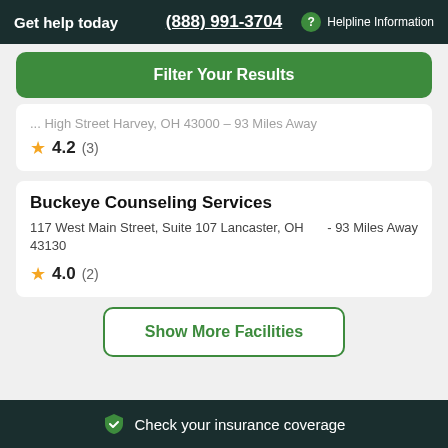Get help today | (888) 991-3704 | ? Helpline Information
Filter Your Results
... High Street Harvey, OH 43000 - 93 Miles Away
★ 4.2 (3)
Buckeye Counseling Services
117 West Main Street, Suite 107 Lancaster, OH 43130 - 93 Miles Away
★ 4.0 (2)
Show More Facilities
Check your insurance coverage